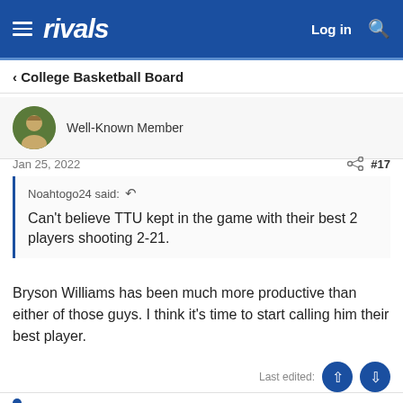rivals  Log in
< College Basketball Board
Well-Known Member
Jan 25, 2022   #17
Noahtogo24 said: ↺  Can't believe TTU kept in the game with their best 2 players shooting 2-21.
Bryson Williams has been much more productive than either of those guys. I think it's time to start calling him their best player.
Last edited: